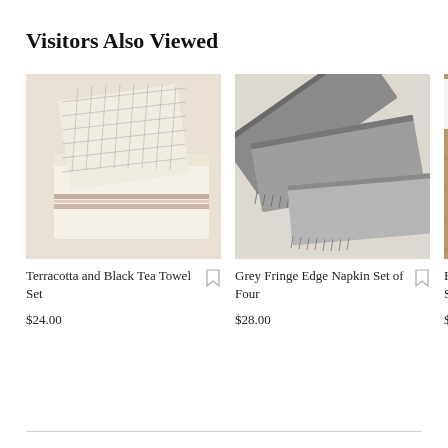Visitors Also Viewed
[Figure (photo): Folded cream and grey grid-pattern tea towels tied with a ribbon, on a light beige background]
Terracotta and Black Tea Towel Set
$24.00
[Figure (photo): Grey fringe-edge napkins folded and stacked on a light beige background]
Grey Fringe Edge Napkin Set of Four
$28.00
[Figure (photo): Partially visible white napkins on a wooden surface (cropped at right edge)]
Blue St… Set of F…
$28.00